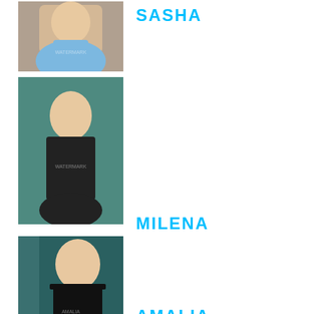[Figure (photo): Portrait photo of a blonde woman in a light blue denim shirt]
SASHA
[Figure (photo): Portrait photo of a young brunette woman near a pool in a black swimsuit]
MILENA
[Figure (photo): Portrait photo of a blonde woman in a black top]
AMALIA